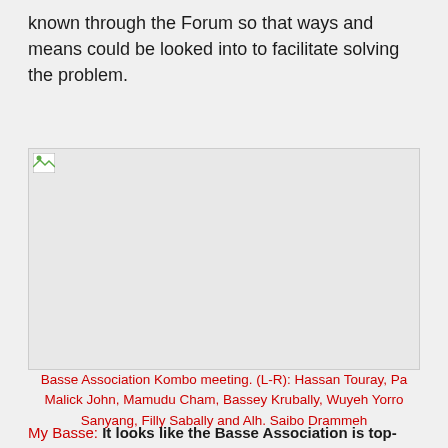known through the Forum so that ways and means could be looked into to facilitate solving the problem.
[Figure (photo): Basse Association Kombo meeting photo showing members seated together]
Basse Association Kombo meeting. (L-R): Hassan Touray, Pa Malick John, Mamudu Cham, Bassey Krubally, Wuyeh Yorro Sanyang, Filly Sabally and Alh. Saibo Drammeh
My Basse: It looks like the Basse Association is top-heavy in